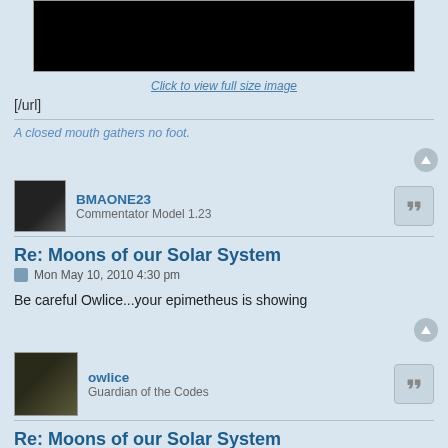[Figure (photo): Black rectangular image placeholder at top of page]
Click to view full size image
[/url]
A closed mouth gathers no foot.
BMAONE23
Commentator Model 1.23
Re: Moons of our Solar System
Mon May 10, 2010 4:30 pm
Be careful Owlice...your epimetheus is showing
owlice
Guardian of the Codes
Re: Moons of our Solar System
Mon May 10, 2010 6:35 pm